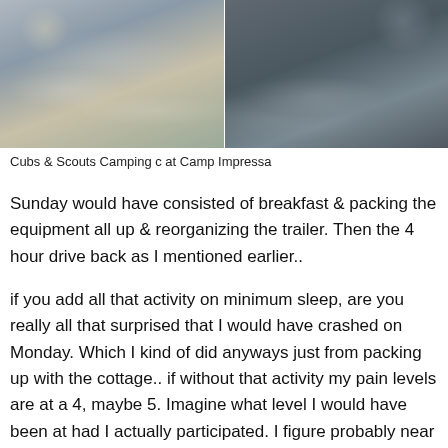[Figure (photo): Two side-by-side photos of water scenes, likely ducks or wildlife on water at Camp Impressa]
Cubs & Scouts Camping c at Camp Impressa
Sunday would have consisted of breakfast & packing the equipment all up & reorganizing the trailer. Then the 4 hour drive back as I mentioned earlier..
if you add all that activity on minimum sleep, are you really all that surprised that I would have crashed on Monday. Which I kind of did anyways just from packing up with the cottage.. if without that activity my pain levels are at a 4, maybe 5. Imagine what level I would have been at had I actually participated. I figure probably near 9/10 and I tend to go to the ER between the levels of 7 and 8!
Now well...if that activity...in our...Friday...Sunday...